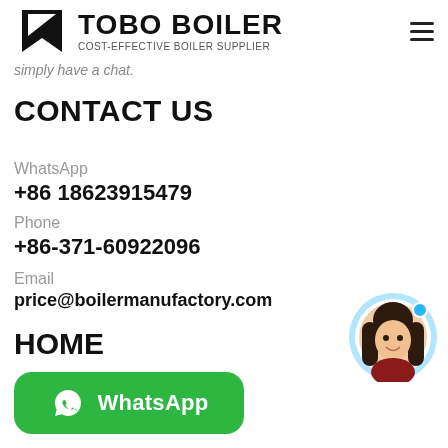TOBO BOILER – COST-EFFECTIVE BOILER SUPPLIER
simply have a chat.
CONTACT US
WhatsApp
+86 18623915479
Phone
+86-371-60922096
Email
price@boilermanufactory.com
HOME
[Figure (other): Green WhatsApp button with phone icon and text 'WhatsApp']
[Figure (photo): Circular chat avatar showing a young woman, with blue online indicator dot]
Service